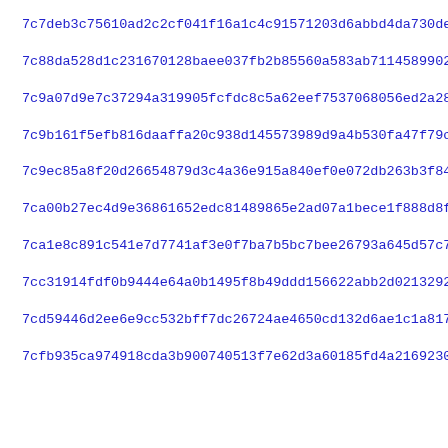7c7deb3c75610ad2c2cf041f16a1c4c91571203d6abbd4da730de0e7bb274
7c88da528d1c231670128baee037fb2b85560a583ab7114589902c12b8132
7c9a07d9e7c37294a319905fcfdc8c5a62eef7537068056ed2a28670d04d8
7c9b161f5efb816daaffa20c938d145573989d9a4b530fa47f79c68ee4811
7c9ec85a8f20d26654879d3c4a36e915a840ef0e072db263b3f84f99a61a5
7ca00b27ec4d9e36861652edc81489865e2ad07a1bece1f888d8f9e745d31
7ca1e8c891c541e7d7741af3e0f7ba7b5bc7bee26793a645d57c78c9dac76
7cc31914fdf0b9444e64a0b1495f8b49ddd156622abb2d02132923caa3022
7cd59446d2ee6e9cc532bff7dc26724ae4650cd132d6ae1c1a8175079e112
7cfb935ca974918cda3b900740513f7e62d3a60185fd4a2169230f93190a0